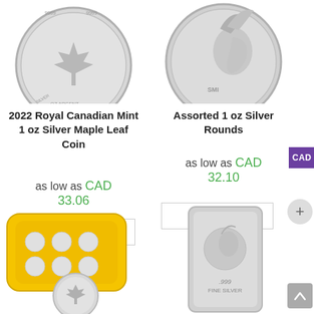[Figure (photo): Silver maple leaf coin (top half visible), circular, metallic]
[Figure (photo): Silver Indian head / buffalo round coin (top half visible), circular, metallic]
2022 Royal Canadian Mint 1 oz Silver Maple Leaf Coin
Assorted 1 oz Silver Rounds
as low as CAD 33.06
as low as CAD 32.10
Add to cart
Add to cart
CAD
[Figure (photo): Yellow plastic coin storage case with silver maple leaf coins]
[Figure (photo): Silver bar engraved with .999 Fine Silver and Indian head motif]